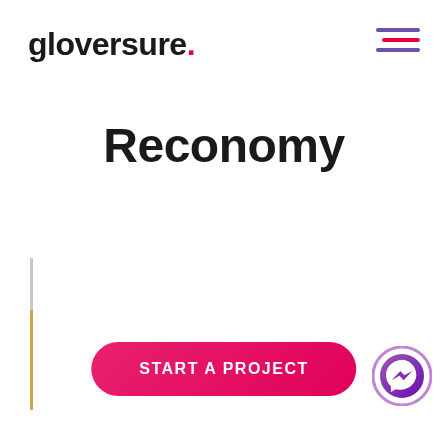gloversure.
Reconomy
START A PROJECT